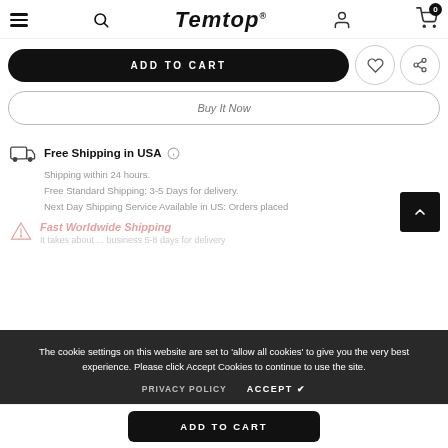Temtop® — navigation header with hamburger, search, logo, account, and cart icons
ADD TO CART
Buy It Now
Free Shipping in USA
Shipping within 24 hours.
Free Standard Shipping: 3-5 Days for delivery.
Next Day Shipping Service Available in US: Orders placed
Fast Worldwide Shipping
It takes about ... business 5-8 days for delivery
The cookie settings on this website are set to 'allow all cookies' to give you the very best experience. Please click Accept Cookies to continue to use the site.
PRIVACY POLICY    ACCEPT ✔
ADD TO CART